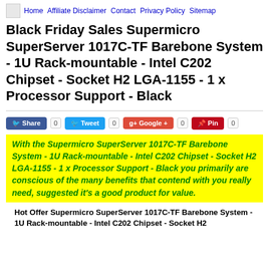Home  Affiliate Disclaimer  Contact  Privacy Policy  Sitemap
Black Friday Sales Supermicro SuperServer 1017C-TF Barebone System - 1U Rack-mountable - Intel C202 Chipset - Socket H2 LGA-1155 - 1 x Processor Support - Black
With the Supermicro SuperServer 1017C-TF Barebone System - 1U Rack-mountable - Intel C202 Chipset - Socket H2 LGA-1155 - 1 x Processor Support - Black you primarily are conscious of the many benefits that contend with you really need, suggested it's a good product for value.
Hot Offer Supermicro SuperServer 1017C-TF Barebone System - 1U Rack-mountable - Intel C202 Chipset - Socket H2